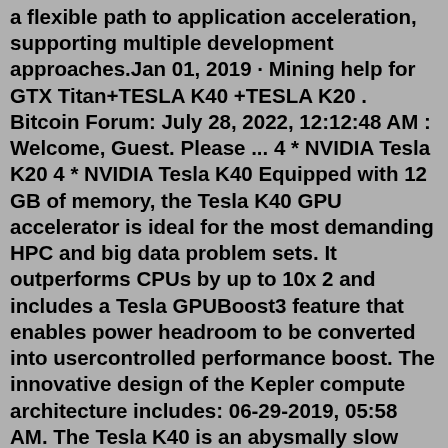a flexible path to application acceleration, supporting multiple development approaches.Jan 01, 2019 · Mining help for GTX Titan+TESLA K40 +TESLA K20 . Bitcoin Forum: July 28, 2022, 12:12:48 AM : Welcome, Guest. Please ... 4 * NVIDIA Tesla K20 4 * NVIDIA Tesla K40 Equipped with 12 GB of memory, the Tesla K40 GPU accelerator is ideal for the most demanding HPC and big data problem sets. It outperforms CPUs by up to 10x 2 and includes a Tesla GPUBoost3 feature that enables power headroom to be converted into usercontrolled performance boost. The innovative design of the Kepler compute architecture includes: 06-29-2019, 05:58 AM. The Tesla K40 is an abysmally slow card by today's standards, especially in hashcat, and coming in at 235W TDP per card, you would be FAR better served getting basically any GPU from the current generation than trying to run those cards. Even the 149$ MSRP GTX 1650 will come in at something like 3 or 4x faster than a K40 ...Nov 11, 2014 · 5. The Tesla Platform is Powered by CUDA. The foundation for